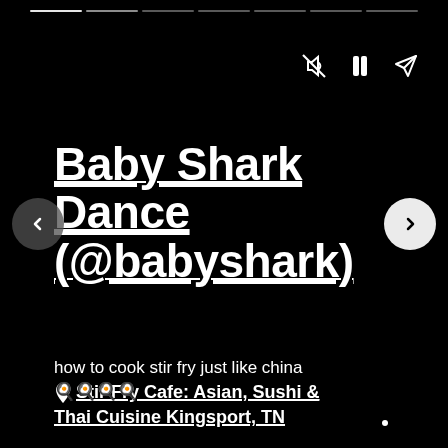[progress bar + controls: mute, pause, share]
Baby Shark Dance (@babyshark)
📍 Stir Fry Cafe: Asian, Sushi & Thai Cuisine Kingsport, TN
how to cook stir fry just like china 🍳🍳🍳🍳